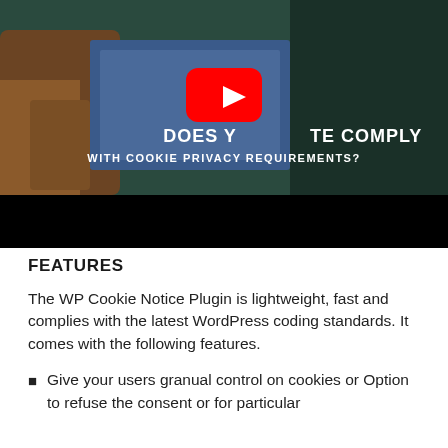[Figure (screenshot): YouTube video thumbnail showing a person with a leather jacket, with the text 'DOES YOUR SITE COMPLY WITH COOKIE PRIVACY REQUIREMENTS?' and a red YouTube play button in the center. The lower portion of the video player area is black.]
FEATURES
The WP Cookie Notice Plugin is lightweight, fast and complies with the latest WordPress coding standards. It comes with the following features.
Give your users granual control on cookies or Option to refuse the consent or for particular